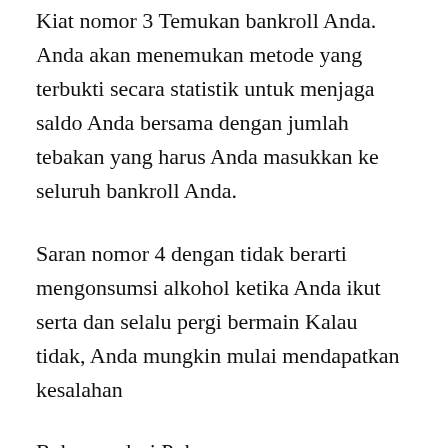Kiat nomor 3 Temukan bankroll Anda. Anda akan menemukan metode yang terbukti secara statistik untuk menjaga saldo Anda bersama dengan jumlah tebakan yang harus Anda masukkan ke seluruh bankroll Anda.
Saran nomor 4 dengan tidak berarti mengonsumsi alkohol ketika Anda ikut serta dan selalu pergi bermain Kalau tidak, Anda mungkin mulai mendapatkan kesalahan
Rekomendasi Poker
Saran # 1 Tip terbaik untuk bermain poker adalah untuk selalu membaca tentang